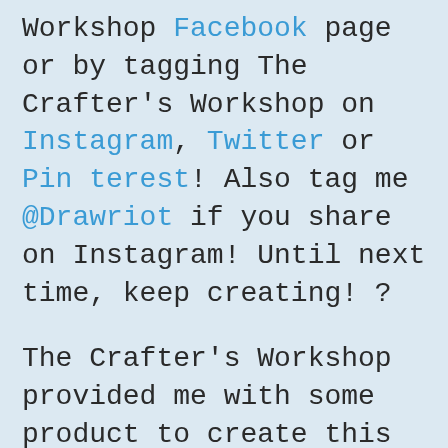Workshop Facebook page or by tagging The Crafter's Workshop on Instagram, Twitter or Pinterest! Also tag me @Drawriot if you share on Instagram! Until next time, keep creating! ?
The Crafter's Workshop provided me with some product to create this project. This post also contains affiliate links. The opinions I share are solely my own.